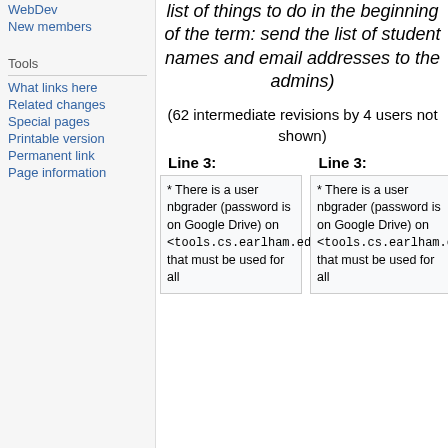WebDev
New members
Tools
What links here
Related changes
Special pages
Printable version
Permanent link
Page information
list of things to do in the beginning of the term: send the list of student names and email addresses to the admins)
(62 intermediate revisions by 4 users not shown)
Line 3:
Line 3:
* There is a user nbgrader (password is on Google Drive) on <code>tools.cs.earlham.edu</code> that must be used for all
* There is a user nbgrader (password is on Google Drive) on <code>tools.cs.earlham.edu</code> that must be used for all